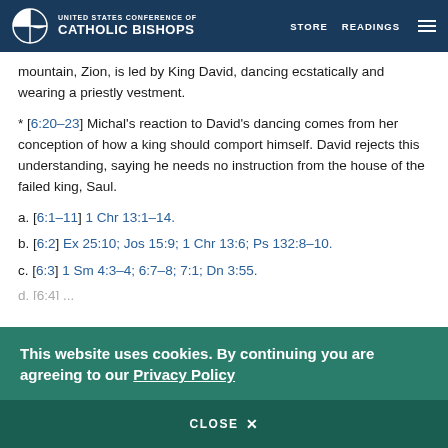UNITED STATES CONFERENCE OF CATHOLIC BISHOPS | STORE | READINGS
mountain, Zion, is led by King David, dancing ecstatically and wearing a priestly vestment.
* [6:20–23] Michal's reaction to David's dancing comes from her conception of how a king should comport himself. David rejects this understanding, saying he needs no instruction from the house of the failed king, Saul.
a. [6:1–11] 1 Chr 13:1–14.
b. [6:2] Ex 25:10; Jos 15:9; 1 Chr 13:6; Ps 132:8–10.
c. [6:3] 1 Sm 4:3–4; 6:7–8; 7:1; Dn 3:55.
This website uses cookies. By continuing you are agreeing to our Privacy Policy
CLOSE X